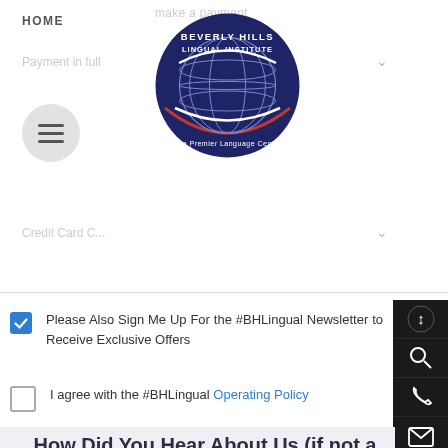HOME
[Figure (logo): Beverly Hills Lingual Institute circular logo with globe and text 'The Premier Language Center']
Please Also Sign Me Up For the #BHLingual Newsletter to Receive Exclusive Offers (checked checkbox)
I agree with the #BHLingual Operating Policy (unchecked checkbox)
How Did You Hear About Us (if not a current student)?
Internet - Search (unchecked checkbox)